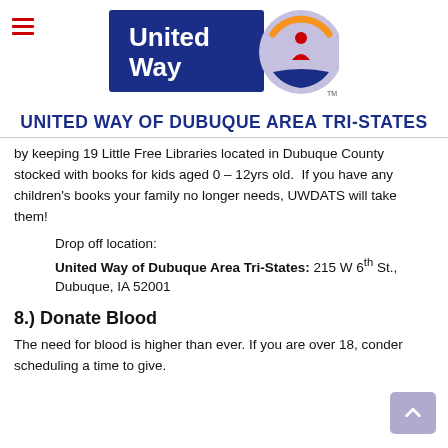[Figure (logo): United Way logo with blue rectangle containing 'United Way' text in white, and circular icon with orange arc, red figure, and blue hand on right side]
UNITED WAY OF DUBUQUE AREA TRI-STATES
by keeping 19 Little Free Libraries located in Dubuque County stocked with books for kids aged 0 – 12yrs old.  If you have any children's books your family no longer needs, UWDATS will take them!
Drop off location:
United Way of Dubuque Area Tri-States: 215 W 6th St., Dubuque, IA 52001
8.) Donate Blood
The need for blood is higher than ever. If you are over 18, conder scheduling a time to give.